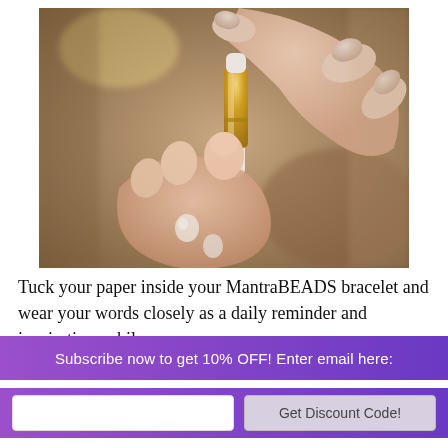[Figure (photo): Close-up of two hands — one holding a small gold and white pen-like tool, touching the fingertip/nail of the other hand. The hand with manicured pale pink nails holds the tool. Background is blurred warm tones.]
Tuck your paper inside your MantraBEADS bracelet and wear your words closely as a daily reminder and inspiration, while
Subscribe now to get 10% OFF! Enter email here:
Get Discount Code!